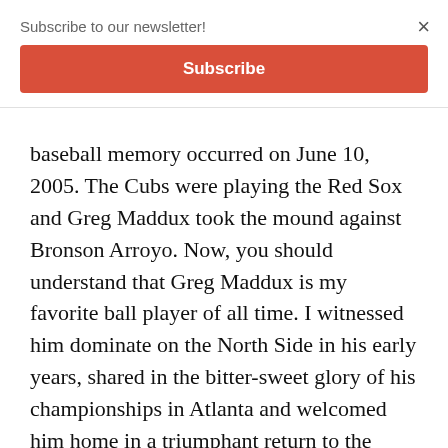Subscribe to our newsletter!
Subscribe
×
baseball memory occurred on June 10, 2005. The Cubs were playing the Red Sox and Greg Maddux took the mound against Bronson Arroyo. Now, you should understand that Greg Maddux is my favorite ball player of all time. I witnessed him dominate on the North Side in his early years, shared in the bitter-sweet glory of his championships in Atlanta and welcomed him home in a triumphant return to the Windy City.
On this day, Greg Maddux not only won (obviously), but he hit a home run, which used to be very rare for